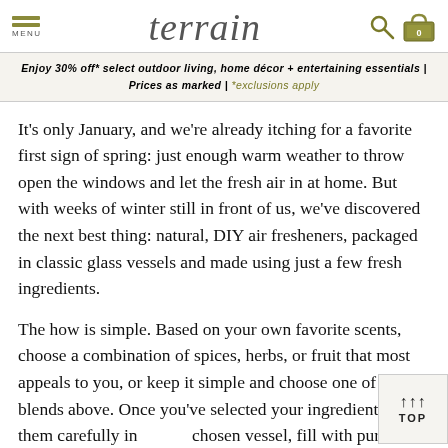terrain — MENU | search | cart (0)
Enjoy 30% off* select outdoor living, home décor + entertaining essentials | Prices as marked | *exclusions apply
It's only January, and we're already itching for a favorite first sign of spring: just enough warm weather to throw open the windows and let the fresh air in at home. But with weeks of winter still in front of us, we've discovered the next best thing: natural, DIY air fresheners, packaged in classic glass vessels and made using just a few fresh ingredients.
The how is simple. Based on your own favorite scents, choose a combination of spices, herbs, or fruit that most appeals to you, or keep it simple and choose one of our blends above. Once you've selected your ingredients, add them carefully into your chosen vessel, fill with purified water, seal, and store in the refrigerator until ready for use. When you're ready to freshen,